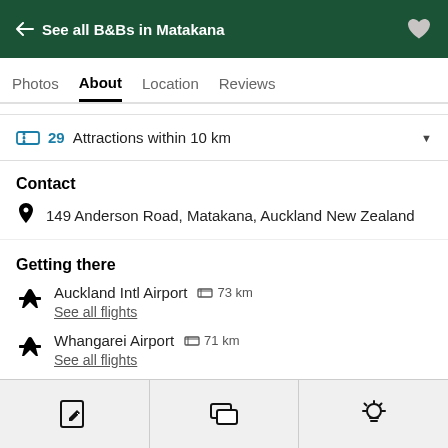← See all B&Bs in Matakana
Photos | About | Location | Reviews
29 Attractions within 10 km
Contact
149 Anderson Road, Matakana, Auckland New Zealand
Getting there
Auckland Intl Airport  73 km
See all flights
Whangarei Airport  71 km
See all flights
See all nearby hotels
Edit | Chat | Tips icons